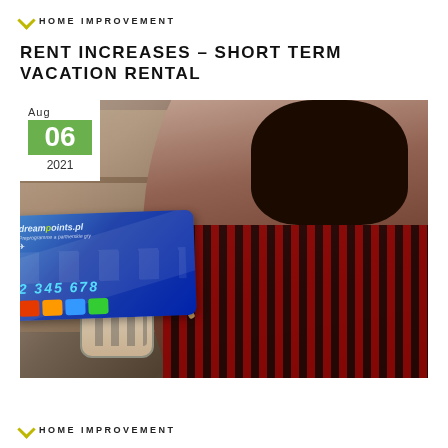HOME IMPROVEMENT
RENT INCREASES – SHORT TERM VACATION RENTAL
[Figure (photo): A woman in a red plaid shirt painting a ceramic mug with a brush in a studio workshop, with shelves of supplies in the background. Overlaid on the image is a date badge showing Aug 06 2021 and a dreampoints.pl loyalty card showing number 2 345 678.]
HOME IMPROVEMENT